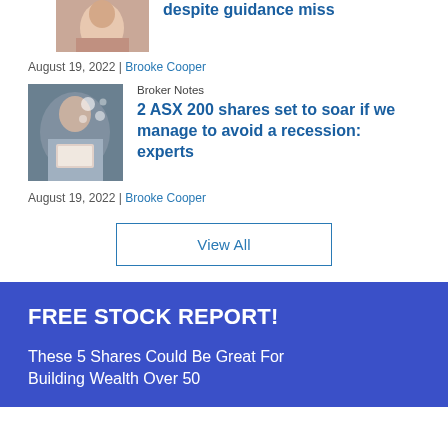[Figure (photo): Top partial article thumbnail showing a person, cropped at top]
despite guidance miss
August 19, 2022 | Brooke Cooper
[Figure (photo): Woman smiling, looking at smartphone with floating icons/bubbles]
Broker Notes
2 ASX 200 shares set to soar if we manage to avoid a recession: experts
August 19, 2022 | Brooke Cooper
View All
FREE STOCK REPORT!
These 5 Shares Could Be Great For Building Wealth Over 50